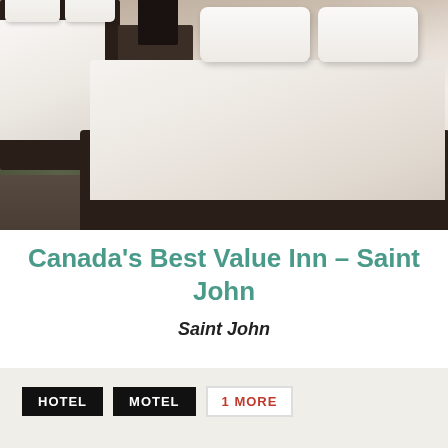[Figure (photo): Hotel room interior showing two beds with white bedding, dark wooden bed frames, nightstand with lamp, wooden floor, and decorative rug. Modern hotel room setting.]
Canada's Best Value Inn – Saint John
Saint John
HOTEL   MOTEL   1 MORE